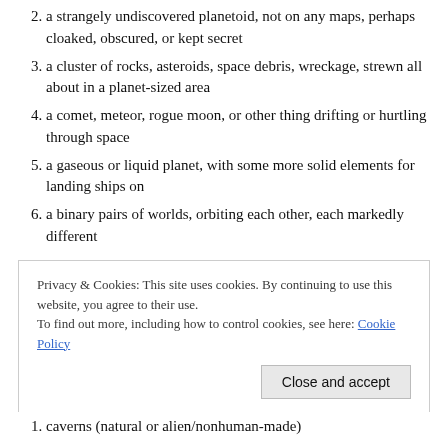2. a strangely undiscovered planetoid, not on any maps, perhaps cloaked, obscured, or kept secret
3. a cluster of rocks, asteroids, space debris, wreckage, strewn all about in a planet-sized area
4. a comet, meteor, rogue moon, or other thing drifting or hurtling through space
5. a gaseous or liquid planet, with some more solid elements for landing ships on
6. a binary pairs of worlds, orbiting each other, each markedly different
Privacy & Cookies: This site uses cookies. By continuing to use this website, you agree to their use. To find out more, including how to control cookies, see here: Cookie Policy
1. caverns (natural or alien/nonhuman-made)